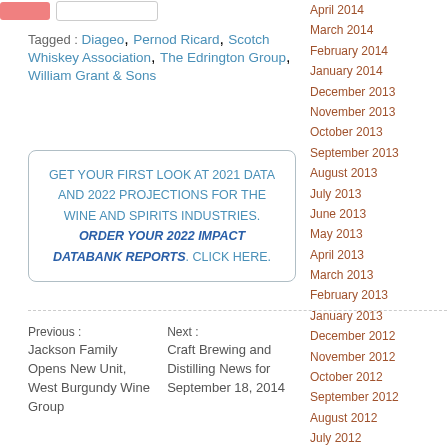Tagged : Diageo, Pernod Ricard, Scotch Whiskey Association, The Edrington Group, William Grant & Sons
GET YOUR FIRST LOOK AT 2021 DATA AND 2022 PROJECTIONS FOR THE WINE AND SPIRITS INDUSTRIES. ORDER YOUR 2022 IMPACT DATABANK REPORTS. CLICK HERE.
Previous : Jackson Family Opens New Unit, West Burgundy Wine Group
Next : Craft Brewing and Distilling News for September 18, 2014
April 2014
March 2014
February 2014
January 2014
December 2013
November 2013
October 2013
September 2013
August 2013
July 2013
June 2013
May 2013
April 2013
March 2013
February 2013
January 2013
December 2012
November 2012
October 2012
September 2012
August 2012
July 2012